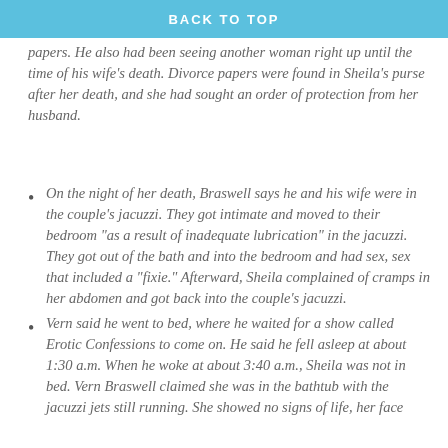BACK TO TOP
papers. He also had been seeing another woman right up until the time of his wife’s death. Divorce papers were found in Sheila’s purse after her death, and she had sought an order of protection from her husband.
On the night of her death, Braswell says he and his wife were in the couple’s jacuzzi. They got intimate and moved to their bedroom “as a result of inadequate lubrication” in the jacuzzi. They got out of the bath and into the bedroom and had sex, sex that included a “fixie.” Afterward, Sheila complained of cramps in her abdomen and got back into the couple’s jacuzzi.
Vern said he went to bed, where he waited for a show called Erotic Confessions to come on. He said he fell asleep at about 1:30 a.m. When he woke at about 3:40 a.m., Sheila was not in bed. Vern Braswell claimed she was in the bathtub with the jacuzzi jets still running. She showed no signs of life, her face